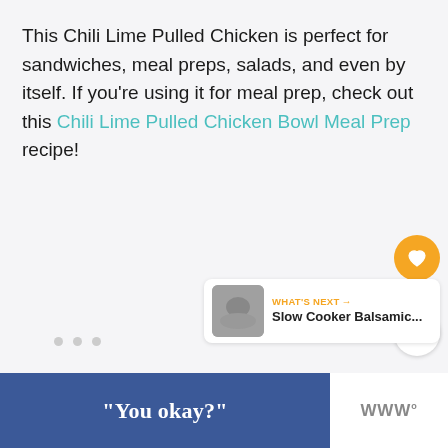This Chili Lime Pulled Chicken is perfect for sandwiches, meal preps, salads, and even by itself. If you're using it for meal prep, check out this Chili Lime Pulled Chicken Bowl Meal Prep recipe!
[Figure (infographic): Social sharing widget with orange heart button showing 1.3K likes and a share button below]
[Figure (infographic): What's Next widget showing Slow Cooker Balsamic... with a thumbnail image]
[Figure (infographic): Three dot pagination indicator]
[Figure (infographic): Advertisement banner with blue background containing the text "You okay?" and a logo on the right]